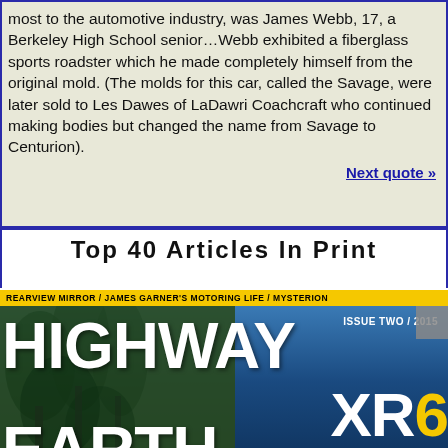most to the automotive industry, was James Webb, 17, a Berkeley High School senior…Webb exhibited a fiberglass sports roadster which he made completely himself from the original mold. (The molds for this car, called the Savage, were later sold to Les Dawes of LaDawri Coachcraft who continued making bodies but changed the name from Savage to Centurion).
Next quote »
Top 40 Articles In Print
[Figure (photo): Magazine cover of 'Highway Earth' Issue Two / 2015. Yellow header banner reads 'REARVIEW MIRROR / JAMES GARNER'S MOTORING LIFE / MYSTERION'. Large white bold text shows 'HIGHWAY' and 'EARTH' on left side over tree/forest background. Right side has blue background with large 'XR6' text (6 in yellow), '1963 AMBER Winner' text, and partial 'AN AMERICAN' text in yellow at bottom.]